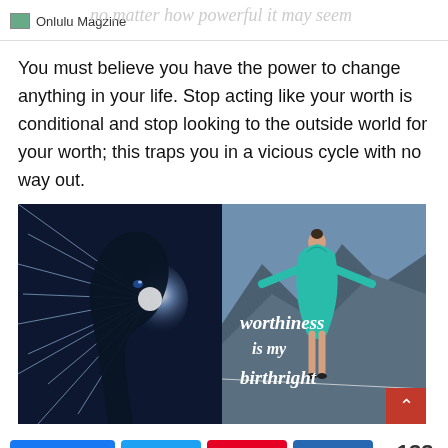Onlulu Magzine
You must believe you have the power to change anything in your life. Stop acting like your worth is conditional and stop looking to the outside world for your worth; this traps you in a vicious cycle with no way out.
[Figure (photo): Left half shows a dark silhouette of a person's profile with white/blue light rays emanating from the head. Right half shows a woman in a teal dress balancing on a tightrope with arms outstretched against a mountain backdrop. In the center-right area, handwritten-style text reads 'worthiness is my birthright'.]
130  3  133 SHARES